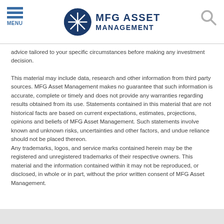MENU | MFG ASSET MANAGEMENT
advice tailored to your specific circumstances before making any investment decision.
This material may include data, research and other information from third party sources. MFG Asset Management makes no guarantee that such information is accurate, complete or timely and does not provide any warranties regarding results obtained from its use. Statements contained in this material that are not historical facts are based on current expectations, estimates, projections, opinions and beliefs of MFG Asset Management. Such statements involve known and unknown risks, uncertainties and other factors, and undue reliance should not be placed thereon. Any trademarks, logos, and service marks contained herein may be the registered and unregistered trademarks of their respective owners. This material and the information contained within it may not be reproduced, or disclosed, in whole or in part, without the prior written consent of MFG Asset Management.